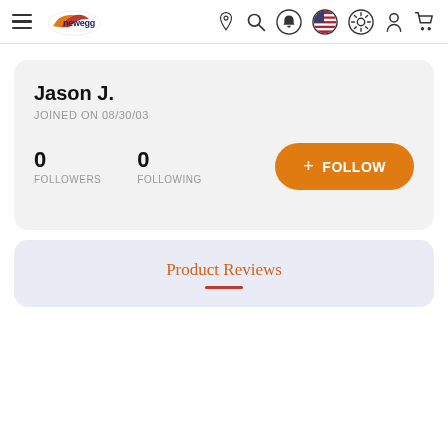Newegg navigation bar with hamburger menu, logo, location, search, bell, US flag, brightness, user, and cart icons
Jason J.
JOINED ON 08/30/03
0 FOLLOWERS   0 FOLLOWING
+ FOLLOW
Product Reviews